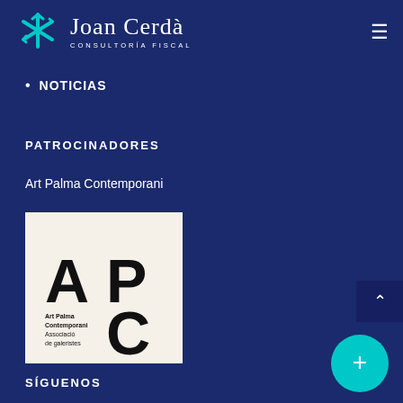[Figure (logo): Joan Cerdà Consultoría Fiscal logo with teal snowflake/asterisk icon and white text on dark navy background]
NOTICIAS
PATROCINADORES
Art Palma Contemporani
[Figure (logo): Art Palma Contemporani logo — large letters A P on top row, C on bottom right, small text 'Art Palma Contemporani Associació de galeristes' on bottom left, on cream/off-white background]
SÍGUENOS
Nuestros canales en las redes sociales